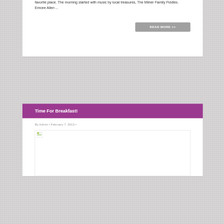favorite place. The morning started with music by local treasures, The Milner Family Fiddles. Emcee Allen ...
READ MORE >>
Time For Breakfast!
By Admin · February 7, 2013 ·
[Figure (photo): Broken/missing image placeholder in a bordered box]